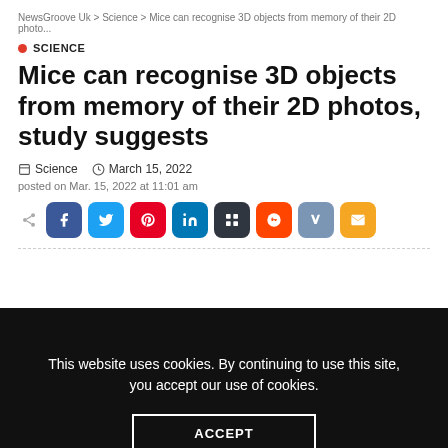NewsGroove Uk › Science › Mice can recognise 3D objects from memory of their 2D photo...
SCIENCE
Mice can recognise 3D objects from memory of their 2D photos, study suggests
Science   March 15, 2022
posted on Mar. 15, 2022 at 11:01 am
[Figure (other): Social share buttons: Facebook, Twitter, Pinterest, LinkedIn, Tumblr, Reddit, VK, Email]
This website uses cookies. By continuing to use this site, you accept our use of cookies.